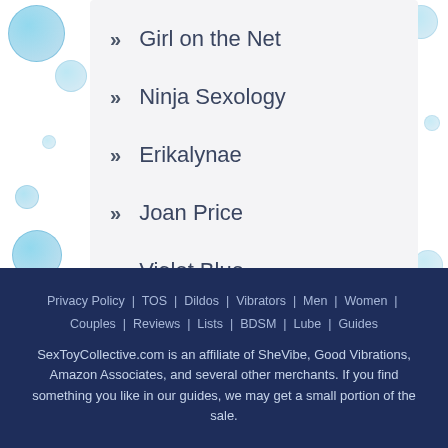» Girl on the Net
» Ninja Sexology
» Erikalynae
» Joan Price
» Violet Blue
Privacy Policy | TOS | Dildos | Vibrators | Men | Women | Couples | Reviews | Lists | BDSM | Lube | Guides SexToyCollective.com is an affiliate of SheVibe, Good Vibrations, Amazon Associates, and several other merchants. If you find something you like in our guides, we may get a small portion of the sale.